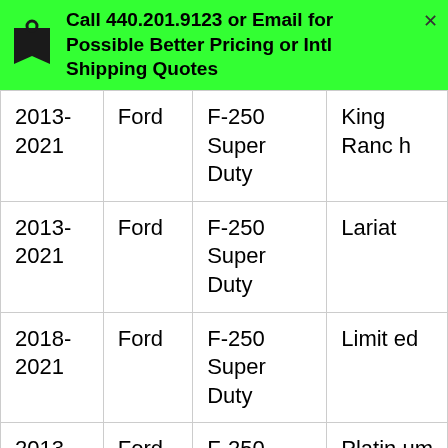Call 440.201.9123 or Email for Possible Better Pricing or Intl Shipping Quotes
| 2013-2021 | Ford | F-250 Super Duty | King Ranch |
| 2013-2021 | Ford | F-250 Super Duty | Lariat |
| 2018-2021 | Ford | F-250 Super Duty | Limited |
| 2013-2021 | Ford | F-250 Super Duty | Platinum |
| 2013-2021 | Ford | F-250 Super Duty | XL |
| 2013- | Ford | F-250 Super | XLT |